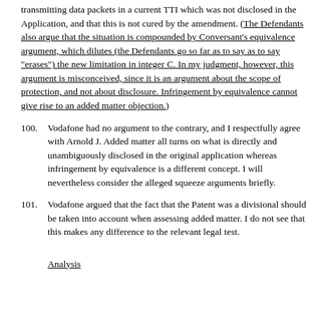transmitting data packets in a current TTI which was not disclosed in the Application, and that this is not cured by the amendment. (The Defendants also argue that the situation is compounded by Conversant's equivalence argument, which dilutes (the Defendants go so far as to say as to say "erases") the new limitation in integer C. In my judgment, however, this argument is misconceived, since it is an argument about the scope of protection, and not about disclosure. Infringement by equivalence cannot give rise to an added matter objection.)
100. Vodafone had no argument to the contrary, and I respectfully agree with Arnold J. Added matter all turns on what is directly and unambiguously disclosed in the original application whereas infringement by equivalence is a different concept. I will nevertheless consider the alleged squeeze arguments briefly.
101. Vodafone argued that the fact that the Patent was a divisional should be taken into account when assessing added matter. I do not see that this makes any difference to the relevant legal test.
Analysis